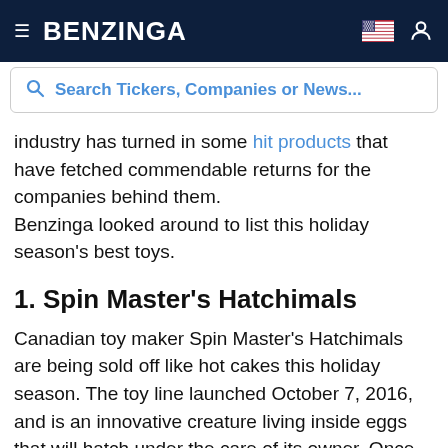BENZINGA
Search Tickers, Companies or News...
industry has turned in some hit products that have fetched commendable returns for the companies behind them.
Benzinga looked around to list this holiday season's best toys.
1. Spin Master's Hatchimals
Canadian toy maker Spin Master's Hatchimals are being sold off like hot cakes this holiday season. The toy line launched October 7, 2016, and is an innovative creature living inside eggs that will hatch under the care of its owner. Once hatched, it would be cared for